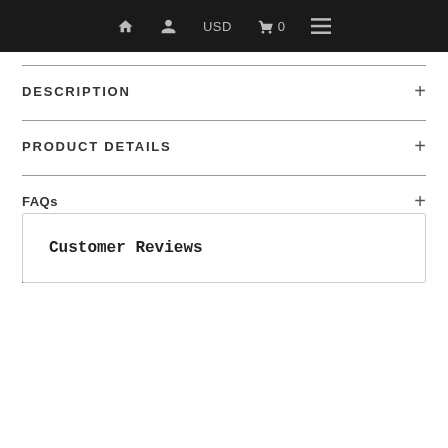🏠 👤 USD 🛒 0 ☰
DESCRIPTION +
PRODUCT DETAILS +
FAQs +
Social share buttons: Facebook, Twitter, Pinterest
Customer Reviews